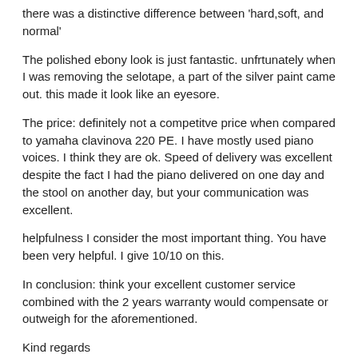there was a distinctive difference between 'hard,soft, and normal'
The polished ebony look is just fantastic. unfrtunately when I was removing the selotape, a part of the silver paint came out. this made it look like an eyesore.
The price: definitely not a competitve price when compared to yamaha clavinova 220 PE. I have mostly used piano voices. I think they are ok. Speed of delivery was excellent despite the fact I had the piano delivered on one day and the stool on another day, but your communication was excellent.
helpfulness I consider the most important thing. You have been very helpful. I give 10/10 on this.
In conclusion: think your excellent customer service combined with the 2 years warranty would compensate or outweigh for the aforementioned.
Kind regards
Milad Kehdr